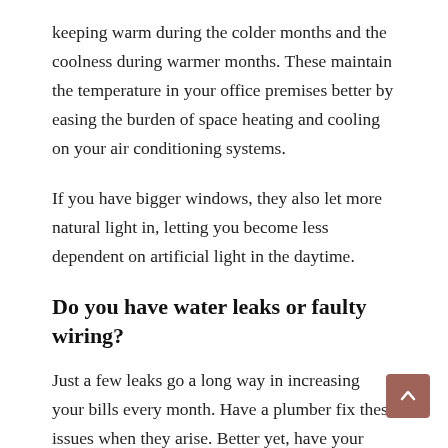keeping warm during the colder months and the coolness during warmer months. These maintain the temperature in your office premises better by easing the burden of space heating and cooling on your air conditioning systems.
If you have bigger windows, they also let more natural light in, letting you become less dependent on artificial light in the daytime.
Do you have water leaks or faulty wiring?
Just a few leaks go a long way in increasing your bills every month. Have a plumber fix these issues when they arise. Better yet, have your pipes and